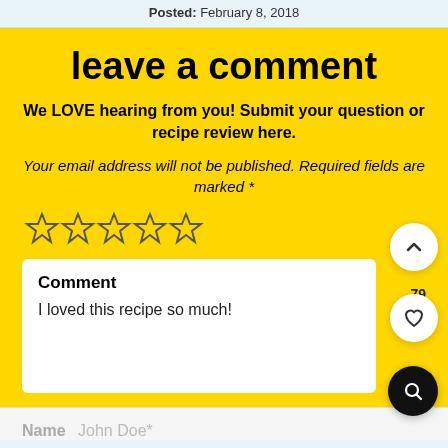Posted: February 8, 2018
leave a comment
We LOVE hearing from you! Submit your question or recipe review here.
Your email address will not be published. Required fields are marked *
[Figure (other): Five empty star rating icons]
Comment
I loved this recipe so much!
Name  John Doe*